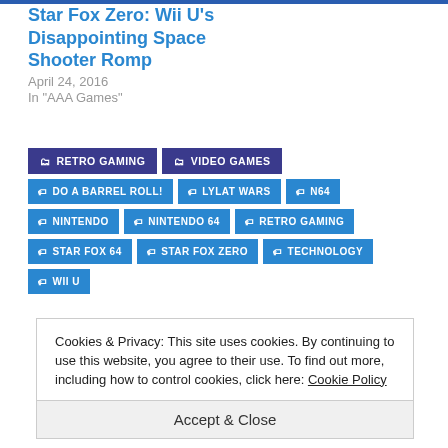Star Fox Zero: Wii U's Disappointing Space Shooter Romp
April 24, 2016
In "AAA Games"
RETRO GAMING
VIDEO GAMES
DO A BARREL ROLL!
LYLAT WARS
N64
NINTENDO
NINTENDO 64
RETRO GAMING
STAR FOX 64
STAR FOX ZERO
TECHNOLOGY
WII U
Cookies & Privacy: This site uses cookies. By continuing to use this website, you agree to their use. To find out more, including how to control cookies, click here: Cookie Policy
Accept & Close